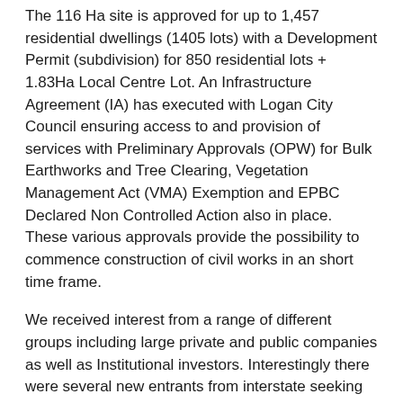The 116 Ha site is approved for up to 1,457 residential dwellings (1405 lots) with a Development Permit (subdivision) for 850 residential lots + 1.83Ha Local Centre Lot. An Infrastructure Agreement (IA) has executed with Logan City Council ensuring access to and provision of services with Preliminary Approvals (OPW) for Bulk Earthworks and Tree Clearing, Vegetation Management Act (VMA) Exemption and EPBC Declared Non Controlled Action also in place. These various approvals provide the possibility to commence construction of civil works in an short time frame.
We received interest from a range of different groups including large private and public companies as well as Institutional investors. Interestingly there were several new entrants from interstate seeking to acquire sites of significance in SEQ and while no serious offers were received from overseas groups toward the later stages of the campaign we spoke with several Asian based groups who are currently active in the apartment market in SEQ seeking to diversify their holdings.